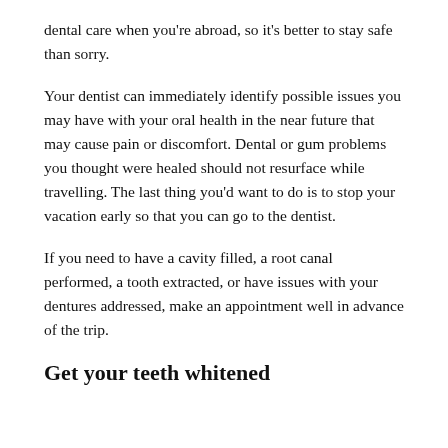dental care when you're abroad, so it's better to stay safe than sorry.
Your dentist can immediately identify possible issues you may have with your oral health in the near future that may cause pain or discomfort. Dental or gum problems you thought were healed should not resurface while travelling. The last thing you'd want to do is to stop your vacation early so that you can go to the dentist.
If you need to have a cavity filled, a root canal performed, a tooth extracted, or have issues with your dentures addressed, make an appointment well in advance of the trip.
Get your teeth whitened